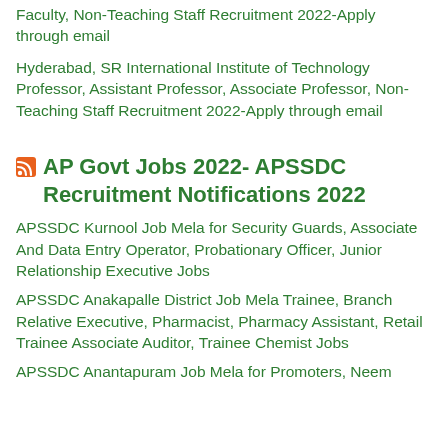Faculty, Non-Teaching Staff Recruitment 2022-Apply through email
Hyderabad, SR International Institute of Technology Professor, Assistant Professor, Associate Professor, Non-Teaching Staff Recruitment 2022-Apply through email
AP Govt Jobs 2022- APSSDC Recruitment Notifications 2022
APSSDC Kurnool Job Mela for Security Guards, Associate And Data Entry Operator, Probationary Officer, Junior Relationship Executive Jobs
APSSDC Anakapalle District Job Mela Trainee, Branch Relative Executive, Pharmacist, Pharmacy Assistant, Retail Trainee Associate Auditor, Trainee Chemist Jobs
APSSDC Anantapuram Job Mela for Promoters, Neem